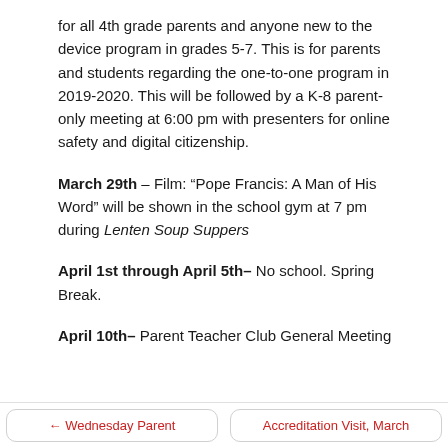for all 4th grade parents and anyone new to the device program in grades 5-7. This is for parents and students regarding the one-to-one program in 2019-2020. This will be followed by a K-8 parent-only meeting at 6:00 pm with presenters for online safety and digital citizenship.
March 29th – Film: “Pope Francis: A Man of His Word” will be shown in the school gym at 7 pm during Lenten Soup Suppers
April 1st through April 5th– No school. Spring Break.
April 10th– Parent Teacher Club General Meeting
← Wednesday Parent    Accreditation Visit, March